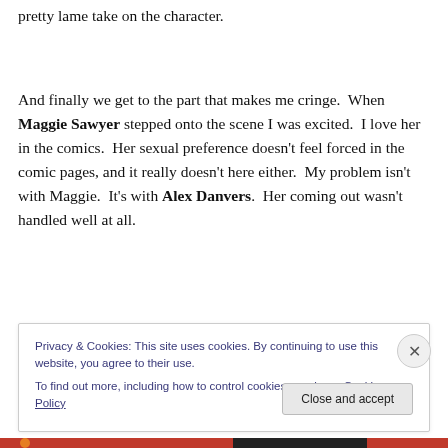pretty lame take on the character.
And finally we get to the part that makes me cringe.  When Maggie Sawyer stepped onto the scene I was excited.  I love her in the comics.  Her sexual preference doesn't feel forced in the comic pages, and it really doesn't here either.  My problem isn't with Maggie.  It's with Alex Danvers.  Her coming out wasn't handled well at all.
Privacy & Cookies: This site uses cookies. By continuing to use this website, you agree to their use.
To find out more, including how to control cookies, see here: Cookie Policy
Close and accept